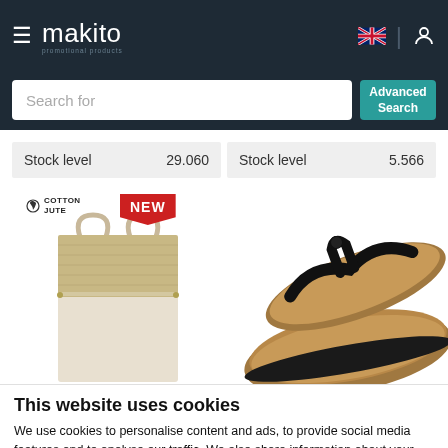makito - promotional products navigation bar with search
| Stock level | 29.060 | Stock level | 5.566 |
| --- | --- | --- | --- |
[Figure (photo): Cotton jute tote bag with NEW badge label and cork flip-flop sandals product images]
This website uses cookies
We use cookies to personalise content and ads, to provide social media features and to analyse our traffic. We also share information about your use of our site with our social media, advertising and analytics partners who may combine it with other information that you've provided to them or that they've collected from your use of their services.